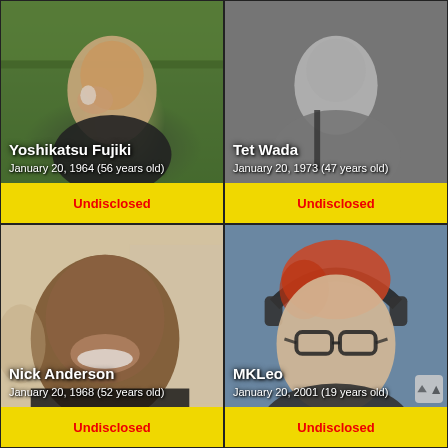[Figure (photo): Photo of Yoshikatsu Fujiki, person holding something near their face, green/warm background]
Yoshikatsu Fujiki
January 20, 1964 (56 years old)
Undisclosed
[Figure (photo): Photo of Tet Wada, person in gray/black and white tones]
Tet Wada
January 20, 1973 (47 years old)
Undisclosed
[Figure (photo): Photo of Nick Anderson, smiling person with dark complexion]
Nick Anderson
January 20, 1968 (52 years old)
Undisclosed
[Figure (photo): Photo of MKLeo, person with reddish hair and glasses wearing headphones]
MKLeo
January 20, 2001 (19 years old)
Undisclosed